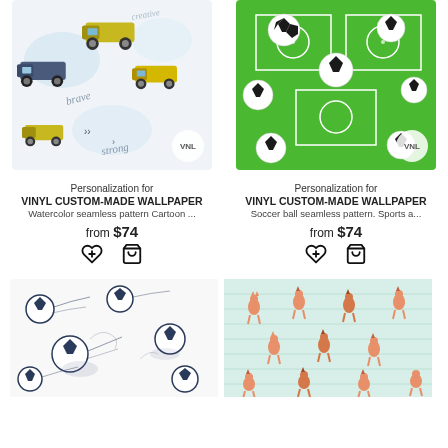[Figure (illustration): Watercolor seamless pattern with cartoon monster trucks/jeeps on white background, with words 'brave', 'strong', 'creative'. VNL badge in corner.]
[Figure (illustration): Soccer ball seamless pattern on green football field background. VNL badge in corner.]
Personalization for
VINYL CUSTOM-MADE WALLPAPER
Watercolor seamless pattern Cartoon ...
from $74
Personalization for
VINYL CUSTOM-MADE WALLPAPER
Soccer ball seamless pattern. Sports a...
from $74
[Figure (illustration): Soccer balls in motion, black and white sketch style seamless pattern on white background, with speed trails.]
[Figure (illustration): Cute cartoon foxes or deer seamless pattern on light blue striped background.]